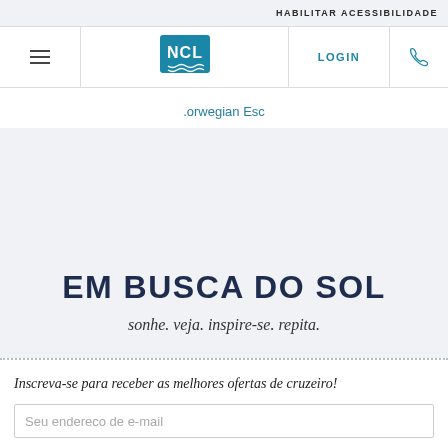HABILITAR ACESSIBILIDADE
[Figure (logo): NCL Norwegian Cruise Line logo with hamburger menu and LOGIN and phone icons in navigation bar]
Norwegian Esc
EM BUSCA DO SOL
sonhe. veja. inspire-se. repita.
Inscreva-se para receber as melhores ofertas de cruzeiro!
Seu endereco de e-mail